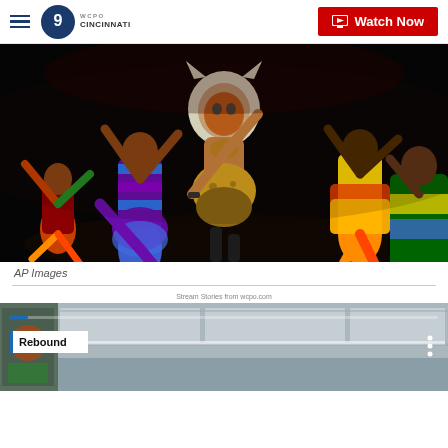WCPO 9 Cincinnati — Watch Now
[Figure (photo): Lion King musical stage performance with dancers in colorful African-inspired costumes. Center performer wears a lion headdress and leopard-print shorts. Other dancers wear vibrant blue/purple striped and orange/yellow costumes against a dark background.]
AP Images
Stream Stories from wcpo.com
[Figure (screenshot): Video thumbnail showing interior of a building/school with a 'Rebound' label overlay in the lower left, a three-dot menu icon on the right, and a blue progress bar at the top.]